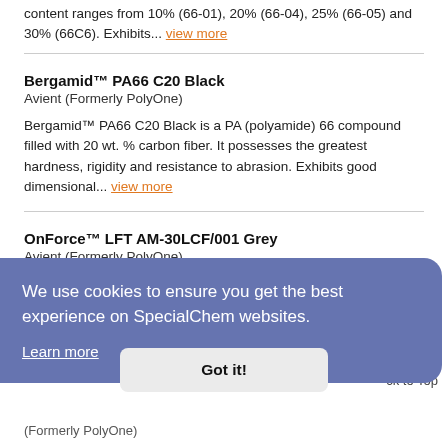content ranges from 10% (66-01), 20% (66-04), 25% (66-05) and 30% (66C6). Exhibits... view more
Bergamid™ PA66 C20 Black
Avient (Formerly PolyOne)
Bergamid™ PA66 C20 Black is a PA (polyamide) 66 compound filled with 20 wt. % carbon fiber. It possesses the greatest hardness, rigidity and resistance to abrasion. Exhibits good dimensional... view more
OnForce™ LFT AM-30LCF/001 Grey
Avient (Formerly PolyOne)
We use cookies to ensure you get the best experience on SpecialChem websites.
Learn more
Got it!